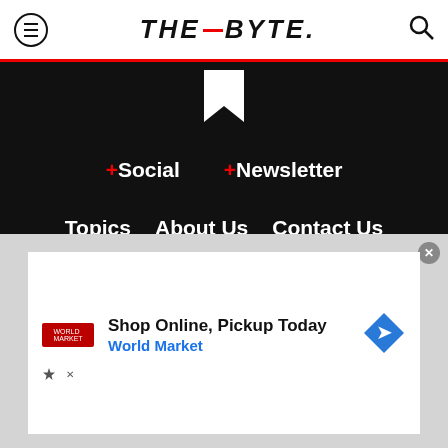THE_BYTE.
[Figure (logo): White bookmark/flag icon on black background]
+Social  +Newsletter
Topics   About Us   Contact Us
Copyright ©, Camden Media Inc All Rights Reserved. See our User Agreement, Privacy Policy and Data Use Policy. The material on this site may not be reproduced, distributed, transmitted, cached or otherwise used, except with prior written
[Figure (screenshot): Advertisement: Shop Online, Pickup Today – World Market]